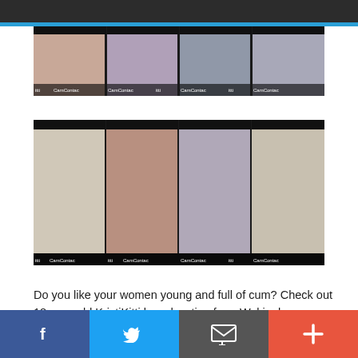[Figure (photo): A grid of 4 webcam thumbnail images in a horizontal strip, each showing a young woman in various poses. Watermark labels 'CamContact' visible at bottom of each cell.]
[Figure (photo): A second grid of 4 webcam thumbnail images in a horizontal strip, each showing a young woman in various poses with stuffed animals on a bed/couch. Watermark labels 'CamContact' visible at bottom of each cell.]
Do you like your women young and full of cum? Check out 18-year-old KristiKitti broadcasting from Wokingham, Berkshire. She is barely legal, turned 18 6 months ago and loves camming with strangers online who want to be naughty and is fresh to the world of sex. She is learning all about sex and she
f  (twitter bird)  (email icon)  +